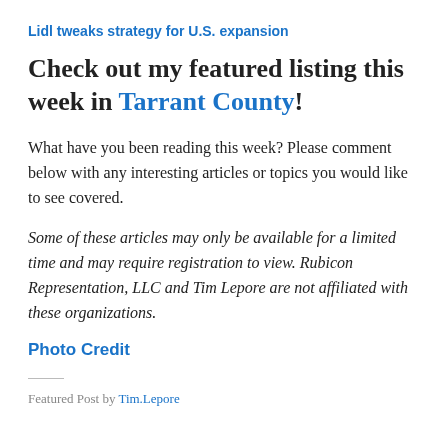Lidl tweaks strategy for U.S. expansion
Check out my featured listing this week in Tarrant County!
What have you been reading this week? Please comment below with any interesting articles or topics you would like to see covered.
Some of these articles may only be available for a limited time and may require registration to view. Rubicon Representation, LLC and Tim Lepore are not affiliated with these organizations.
Photo Credit
Featured Post by Tim.Lepore